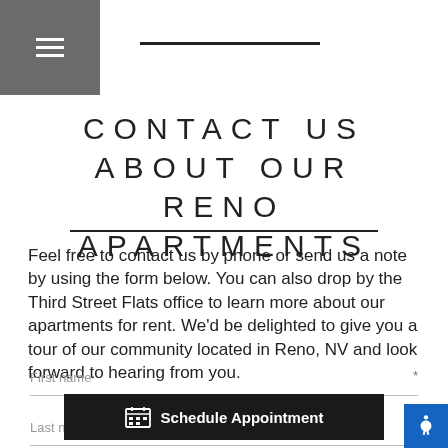[Figure (other): Grey hamburger menu bar in top-left corner]
CONTACT US ABOUT OUR RENO APARTMENTS
Feel free to contact us by phone or send us a note by using the form below. You can also drop by the Third Street Flats office to learn more about our apartments for rent. We'd be delighted to give you a tour of our community located in Reno, NV and look forward to hearing from you.
First name *
Last name *
[Figure (other): Schedule Appointment button with calendar icon]
[Figure (other): Blue accessibility icon button in bottom-right corner]